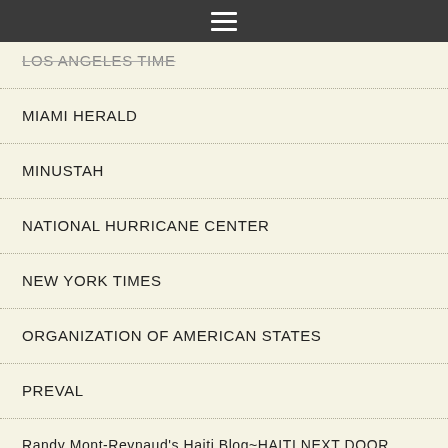≡
LOS ANGELES TIME
MIAMI HERALD
MINUSTAH
NATIONAL HURRICANE CENTER
NEW YORK TIMES
ORGANIZATION OF AMERICAN STATES
PREVAL
Randy Mont-Reynaud's Haiti Blog~HAITI NEXT DOOR
UNITED NATIONS
WALL STREET JOURNAL
WASHINGTON POST